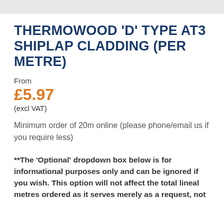THERMOWOOD 'D' TYPE AT3 SHIPLAP CLADDING (PER METRE)
From
£5.97
(excl VAT)
Minimum order of 20m online (please phone/email us if you require less)
**The 'Optional' dropdown box below is for informational purposes only and can be ignored if you wish. This option will not affect the total lineal metres ordered as it serves merely as a request, not